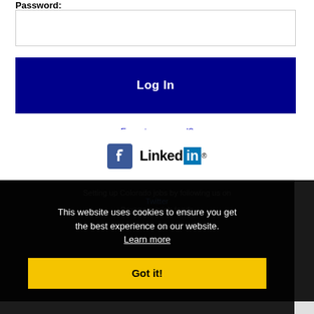Password:
[Figure (screenshot): Password input field (text box, empty)]
[Figure (screenshot): Log In button (dark navy blue background, white bold text)]
Forgot password?
[Figure (logo): Facebook logo icon (blue 'f' on square background) and LinkedIn logo]
This website uses cookies to ensure you get the best experience on our website.
Learn more
[Figure (screenshot): Got it! button (yellow background, black bold text)]